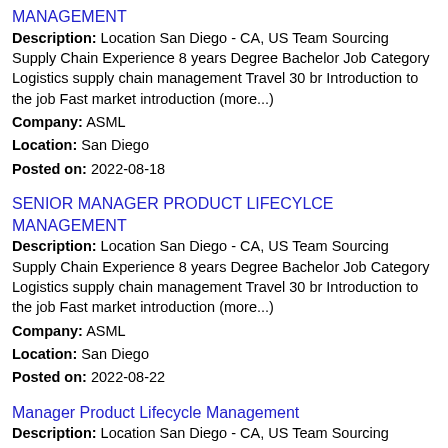MANAGEMENT
Description: Location San Diego - CA, US Team Sourcing Supply Chain Experience 8 years Degree Bachelor Job Category Logistics supply chain management Travel 30 hr Introduction to the job Fast market introduction (more...)
Company: ASML
Location: San Diego
Posted on: 2022-08-18
SENIOR MANAGER PRODUCT LIFECYLCE MANAGEMENT
Description: Location San Diego - CA, US Team Sourcing Supply Chain Experience 8 years Degree Bachelor Job Category Logistics supply chain management Travel 30 hr Introduction to the job Fast market introduction (more...)
Company: ASML
Location: San Diego
Posted on: 2022-08-22
Manager Product Lifecycle Management
Description: Location San Diego - CA, US Team Sourcing Supply Chain Experience 8 years Degree Bachelor Job Category Logistics supply chain management Travel 20 hr Introduction to the job AS a Manager Product (more...)
Company: ASML
Location: San Diego
Posted on: 2022-08-18